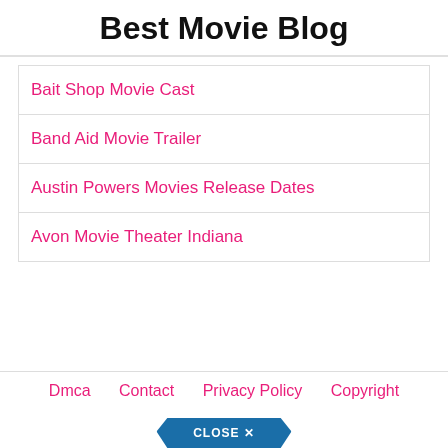Best Movie Blog
Bait Shop Movie Cast
Band Aid Movie Trailer
Austin Powers Movies Release Dates
Avon Movie Theater Indiana
Dmca   Contact   Privacy Policy   Copyright